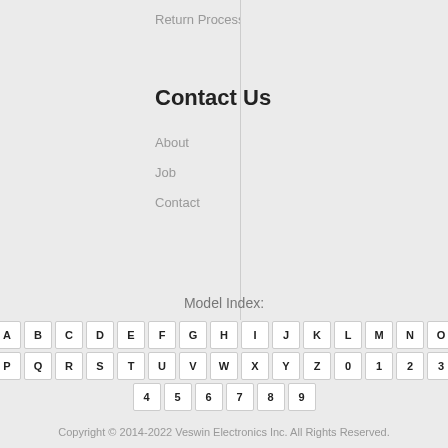Return Process
Contact Us
About
Job
Contact
Model Index:
| A | B | C | D | E | F | G | H | I | J | K | L | M | N | O |
| P | Q | R | S | T | U | V | W | X | Y | Z | 0 | 1 | 2 | 3 |
| 4 | 5 | 6 | 7 | 8 | 9 |
Copyright © 2014-2022 Veswin Electronics Inc. All Rights Reserved.